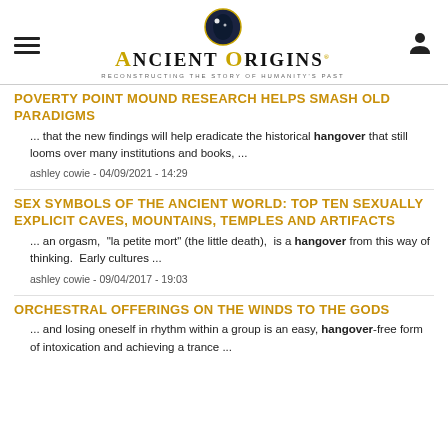Ancient Origins - Reconstructing the Story of Humanity's Past
POVERTY POINT MOUND RESEARCH HELPS SMASH OLD PARADIGMS
... that the new findings will help eradicate the historical hangover that still looms over many institutions and books, ...
ashley cowie - 04/09/2021 - 14:29
SEX SYMBOLS OF THE ANCIENT WORLD: TOP TEN SEXUALLY EXPLICIT CAVES, MOUNTAINS, TEMPLES AND ARTIFACTS
... an orgasm,  "la petite mort" (the little death),  is a hangover from this way of thinking.  Early cultures ...
ashley cowie - 09/04/2017 - 19:03
ORCHESTRAL OFFERINGS ON THE WINDS TO THE GODS
... and losing oneself in rhythm within a group is an easy, hangover-free form of intoxication and achieving a trance ...